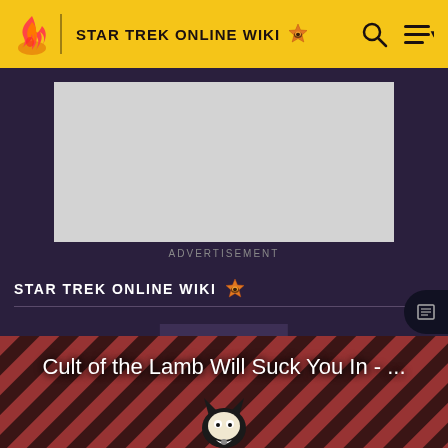STAR TREK ONLINE WIKI
[Figure (screenshot): Advertisement placeholder - grey rectangle]
ADVERTISEMENT
STAR TREK ONLINE WIKI
Laas
EDIT
Cult of the Lamb Will Suck You In - ...